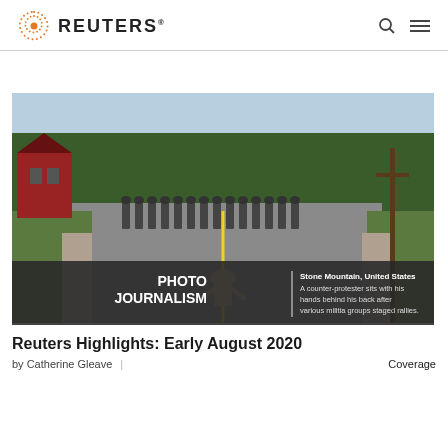REUTERS®
[Figure (photo): A counter-protester sits on a road with hands behind his back facing a line of police/militia in riot gear. A red barn-style building is visible on the left, trees in the background. Photo caption: 'Stone Mountain, United States — A counter-protester sits with his hands behind his back after various militia groups staged rallies.' Overlay text: PHOTO JOURNALISM]
Stone Mountain, United States — A counter-protester sits with his hands behind his back after various militia groups staged rallies.
Reuters Highlights: Early August 2020
by Catherine Gleave | Coverage